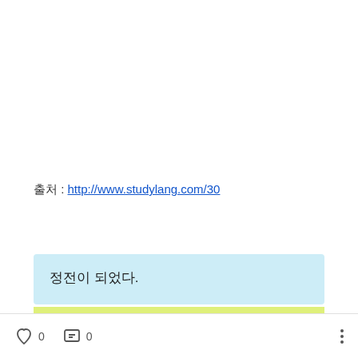출처 : http://www.studylang.com/30
정전이 되었다.
0  0